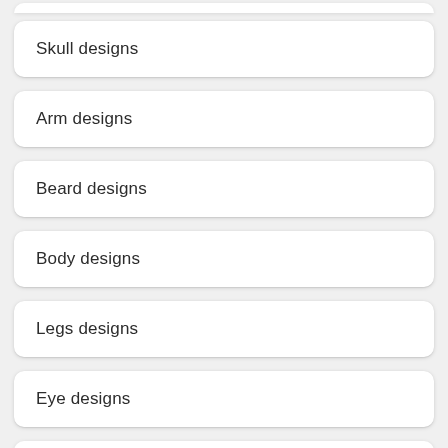Skull designs
Arm designs
Beard designs
Body designs
Legs designs
Eye designs
Fashion designs